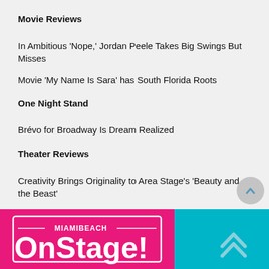Movie Reviews
In Ambitious 'Nope,' Jordan Peele Takes Big Swings But Misses
Movie 'My Name Is Sara' has South Florida Roots
One Night Stand
Brévo for Broadway Is Dream Realized
Theater Reviews
Creativity Brings Originality to Area Stage's 'Beauty and the Beast'
[Figure (logo): Miami Beach OnStage! logo banner with pink and teal/cyan background]